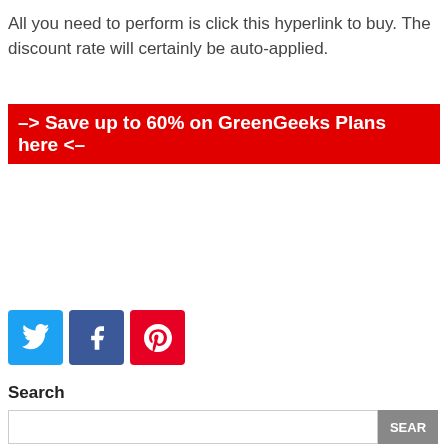All you need to perform is click this hyperlink to buy. The discount rate will certainly be auto-applied.
–> Save up to 60% on GreenGeeks Plans here <–
[Figure (other): Social share buttons: Twitter (blue), Facebook (dark blue), Pinterest (red)]
Search